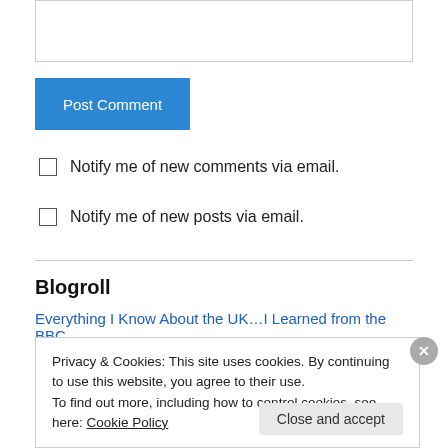[Figure (screenshot): Empty textarea input box]
Post Comment
Notify me of new comments via email.
Notify me of new posts via email.
Blogroll
Everything I Know About the UK…I Learned from the BBC
Privacy & Cookies: This site uses cookies. By continuing to use this website, you agree to their use.
To find out more, including how to control cookies, see here: Cookie Policy
Close and accept